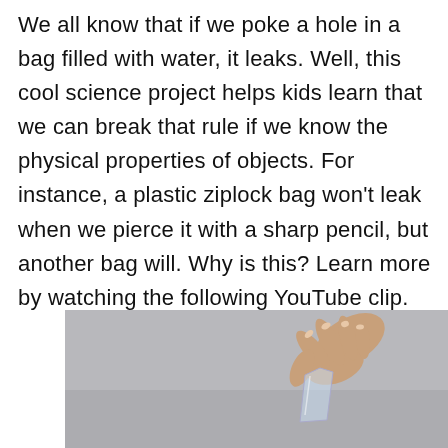We all know that if we poke a hole in a bag filled with water, it leaks. Well, this cool science project helps kids learn that we can break that rule if we know the physical properties of objects. For instance, a plastic ziplock bag won't leak when we pierce it with a sharp pencil, but another bag will. Why is this? Learn more by watching the following YouTube clip.
[Figure (photo): A hand holding and pinching a small clear plastic ziplock bag, photographed against a light gray background.]